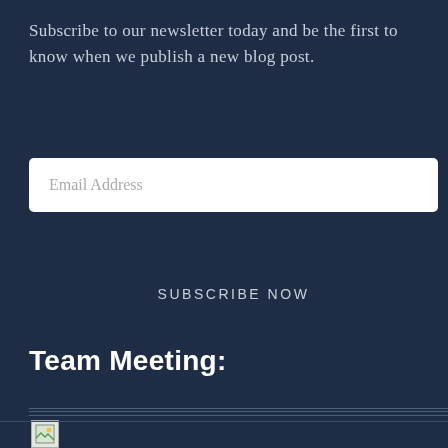Subscribe to our newsletter today and be the first to know when we publish a new blog post.
Email Address
SUBSCRIBE NOW
Team Meeting:
[Figure (other): Broken image placeholder icon below a horizontal divider line]